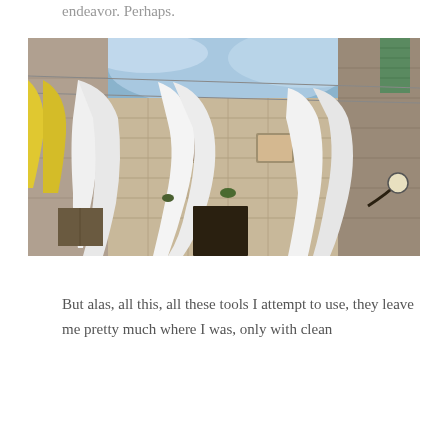endeavor. Perhaps.
[Figure (photo): Photograph taken looking upward in a narrow alley between old stone buildings. White sheets, pillowcases, and a yellow fabric item are hanging on clotheslines strung between the buildings. Blue sky is visible above. A street lamp is visible on the right side.]
But alas, all this, all these tools I attempt to use, they leave me pretty much where I was, only with clean